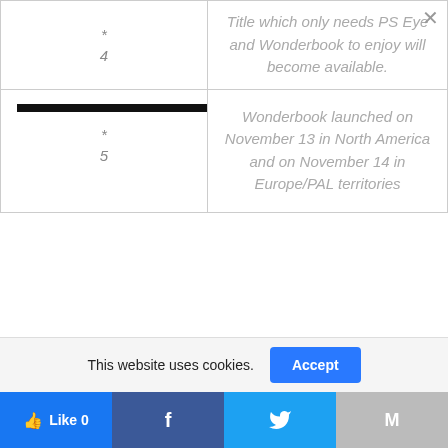| *
4 | Title which only needs PS Eye and Wonderbook to enjoy will become available. |
| --- | --- |
| *
5 | Wonderbook launched on November 13 in North America and on November 14 in Europe/PAL territories |
This website uses cookies.
Accept